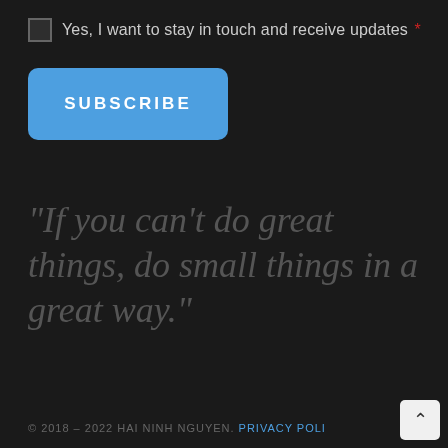Yes, I want to stay in touch and receive updates *
SUBSCRIBE
“If you can’t do great things, do small things in a great way.”
© 2018 – 2022 HAI NINH NGUYEN. PRIVACY POLI…